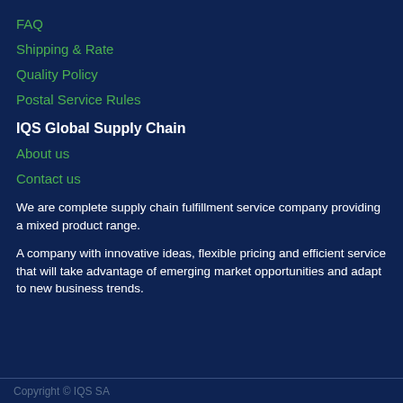FAQ
Shipping & Rate
Quality Policy
Postal Service Rules
IQS Global Supply Chain
About us
Contact us
We are complete supply chain fulfillment service company providing a mixed product range.
A company with innovative ideas, flexible pricing and efficient service that will take advantage of emerging market opportunities and adapt to new business trends.
Copyright © IQS SA